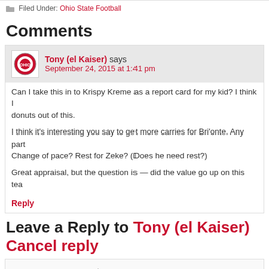Filed Under: Ohio State Football
Comments
Tony (el Kaiser) says September 24, 2015 at 1:41 pm
Can I take this in to Krispy Kreme as a report card for my kid? I think I donuts out of this.
I think it's interesting you say to get more carries for Bri'onte. Any part Change of pace? Rest for Zeke? (Does he need rest?)
Great appraisal, but the question is — did the value go up on this tea
Reply
Leave a Reply to Tony (el Kaiser) Cancel reply
Enter your comment here...